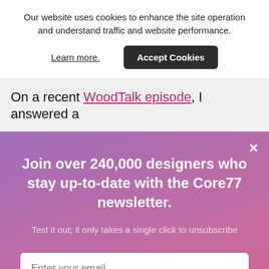Our website uses cookies to enhance the site operation and understand traffic and website performance.
Learn more.
Accept Cookies
On a recent WoodTalk episode, I answered a
×
Join over 240,000 designers who stay up-to-date with the Core77 newsletter.
Test it out; it only takes a single click to unsubscribe
Enter your email
Subscribe